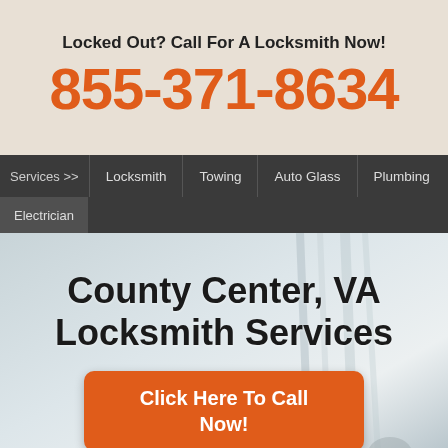Locked Out? Call For A Locksmith Now!
855-371-8634
Services >> Locksmith Towing Auto Glass Plumbing Electrician
County Center, VA Locksmith Services
Click Here To Call Now!